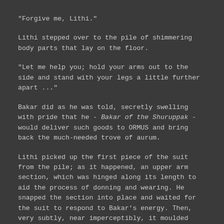"Forgive me, Lithi."
Lithi stepped over to the pile of shimmering body parts that lay on the floor.
"Let me help you; hold your arms out to the side and stand with your legs a little further apart ..."
Bakar did as he was told, secretly swelling with pride that he - Bakar of the Shuruppak - would deliver such goods to ORMUS and bring back the much-needed trove of aurum.
Lithi picked up the first piece of the suit from the pile; as it happened, an upper arm section, which was hinged along its length to aid the process of donning and wearing. He snapped the section into place and waited for the suit to respond to Bakar's energy. Then, very subtly, near imperceptibly, it moulded itself to the precise contour of Bakar's arm.
"Flex your muscle."